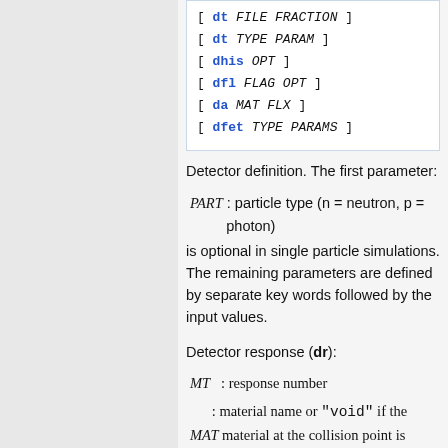[Figure (other): Code block showing detector definition syntax with lines: [ dt TYPE PARAM ], [ dhis OPT ], [ dfl FLAG OPT ], [ da MAT FLX ], [ dfet TYPE PARAMS ]]
Detector definition. The first parameter:
is optional in single particle simulations. The remaining parameters are defined by separate key words followed by the input values.
Detector response (dr):
MT : response number
MAT : material name or "void" if the material at the collision point is